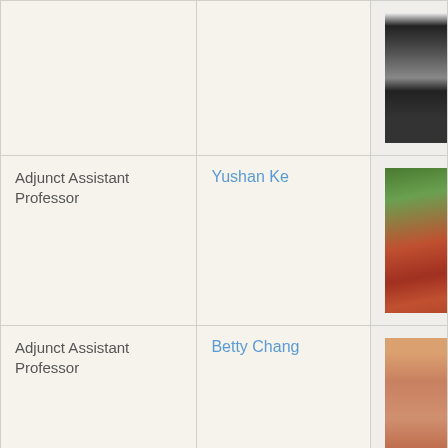| Title | Name | Photo |
| --- | --- | --- |
|  |  | [photo] |
| Adjunct Assistant Professor | Yushan Ke | [photo] |
| Adjunct Assistant Professor | Betty Chang | [photo] |
| Adjunct Lecturer | Eleanor S. Leu | [photo] |